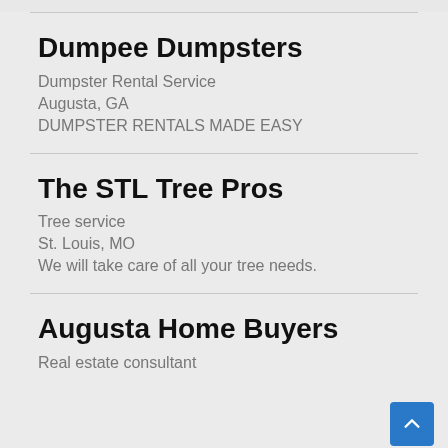Dumpee Dumpsters
Dumpster Rental Service
Augusta, GA
DUMPSTER RENTALS MADE EASY
The STL Tree Pros
Tree service
St. Louis, MO
We will take care of all your tree needs.
Augusta Home Buyers
Real estate consultant